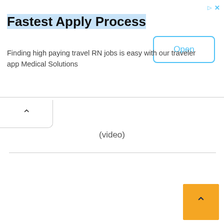[Figure (screenshot): Advertisement banner for Medical Solutions travel nursing jobs with 'Fastest Apply Process' headline, body text, and Open button]
Fastest Apply Process
Finding high paying travel RN jobs is easy with our traveler app Medical Solutions
[Figure (other): Collapse/chevron tab button below the ad banner]
(video)
[Figure (other): Orange back-to-top button with chevron arrow in bottom-right corner]